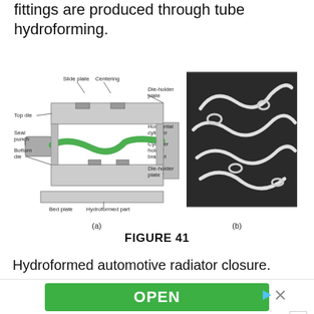fittings are produced through tube hydroforming.
[Figure (engineering-diagram): Tube hydroforming process diagram showing labeled components: Slide plate, Centering, Die-holder plate, Top die, Horizontal cylinder, Seal punch, Cylinder holder bracket, Bottom die, Die-holder plate, Bed plate, Hydroformed part. The tube (green) is shown being formed inside the die assembly. Labeled (a).]
[Figure (photo): Black and white photograph of hydroformed automotive radiator closure parts, labeled (b).]
FIGURE 41
Hydroformed automotive radiator closure.